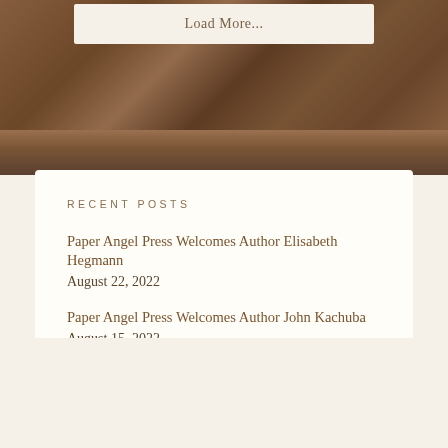Load More...
RECENT POSTS
Paper Angel Press Welcomes Author Elisabeth Hegmann
August 22, 2022
Paper Angel Press Welcomes Author John Kachuba
August 15, 2022
Ranty Blogpost: Simultaneous Submissions August 10, 2022